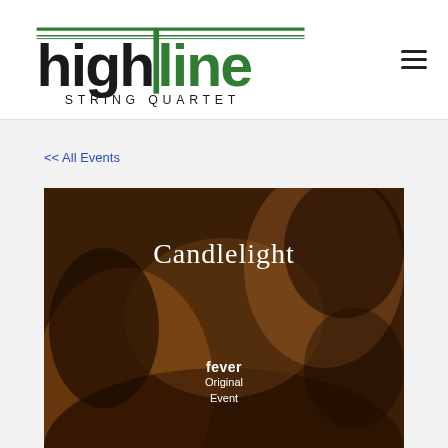[Figure (logo): Highline String Quartet logo — stylized black and green text with horizontal lines]
<< All Events
[Figure (photo): Candlelight fever Original Event promotional image — dark warm-toned photo of a musician with 'Candlelight' text and 'fever Original Event' overlay]